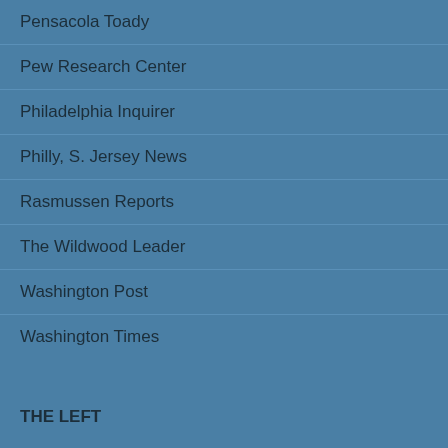Pensacola Toady
Pew Research Center
Philadelphia Inquirer
Philly, S. Jersey News
Rasmussen Reports
The Wildwood Leader
Washington Post
Washington Times
THE LEFT
Applesauce
Daily KOS